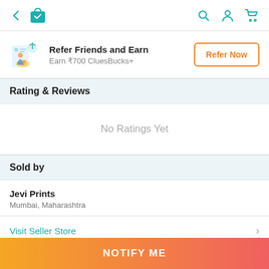[Figure (screenshot): Top navigation bar with back arrow, shopping bag with checkmark icon (teal), search icon, profile icon, and cart icon on the right.]
Refer Friends and Earn
Earn ₹700 CluesBucks+
Refer Now
Rating & Reviews
No Ratings Yet
Sold by
Jevi Prints
Mumbai, Maharashtra
Visit Seller Store
NOTIFY ME